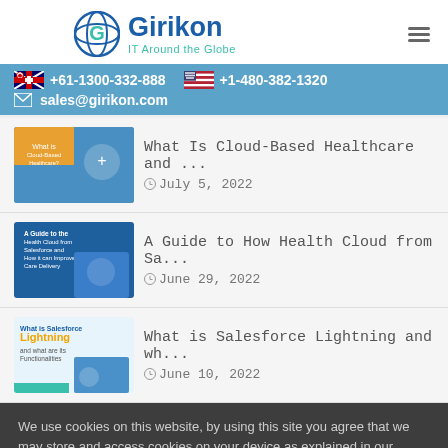[Figure (logo): Girikon IT Around the Globe logo with circular globe icon]
+61-1300-332-888  +1-480-382-1320  sales@girikon.com
What Is Cloud-Based Healthcare and ... July 5, 2022
A Guide to How Health Cloud from Sa... June 29, 2022
What is Salesforce Lightning and wh... June 10, 2022
We use cookies on this website, by using this site you agree that we may store and access cookies on your device as explained in our Privacy Policy.
Got It  RY